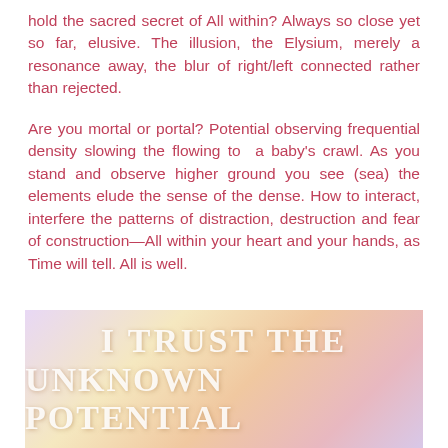hold the sacred secret of All within? Always so close yet so far, elusive. The illusion, the Elysium, merely a resonance away, the blur of right/left connected rather than rejected.
Are you mortal or portal? Potential observing frequential density slowing the flowing to a baby's crawl. As you stand and observe higher ground you see (sea) the elements elude the sense of the dense. How to interact, interfere the patterns of distraction, destruction and fear of construction—All within your heart and your hands, as Time will tell. All is well.
[Figure (illustration): Decorative image with soft pastel background (lavender, gold, peach tones) featuring large white bold uppercase text reading 'I TRUST THE UNKNOWN POTENTIAL']